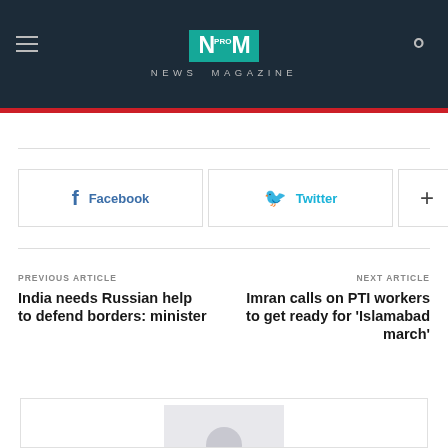NM PRO NEWS MAGAZINE
Facebook  Twitter  +
PREVIOUS ARTICLE
India needs Russian help to defend borders: minister
NEXT ARTICLE
Imran calls on PTI workers to get ready for 'Islamabad march'
[Figure (photo): Author avatar placeholder image showing silhouette of person]